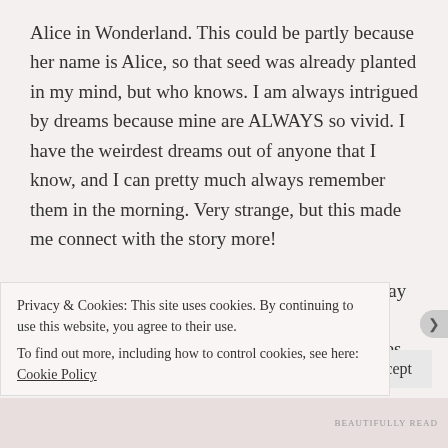Alice in Wonderland. This could be partly because her name is Alice, so that seed was already planted in my mind, but who knows. I am always intrigued by dreams because mine are ALWAYS so vivid. I have the weirdest dreams out of anyone that I know, and I can pretty much always remember them in the morning. Very strange, but this made me connect with the story more!
I loved the diversity of the cast of characters. Yay for actually having different ethnicities, but not making it feel like you're just checking off boxes. It's always so impressive. The main character, her mother, and her brother were all black; her father and best friend were
Privacy & Cookies: This site uses cookies. By continuing to use this website, you agree to their use.
To find out more, including how to control cookies, see here: Cookie Policy
Close and accept
BEAUTIFULLY READ